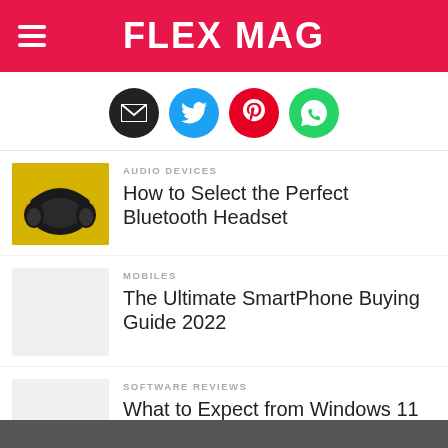FLEX MAG
[Figure (infographic): Social sharing icons row: email (black), Twitter (blue), Pinterest (red), WhatsApp (green)]
[Figure (photo): Black Bluetooth headset on yellow background]
AUDIO DEVICES
How to Select the Perfect Bluetooth Headset
[Figure (photo): Light gray placeholder image for smartphone article]
MOBILES
The Ultimate SmartPhone Buying Guide 2022
[Figure (photo): Light gray placeholder image for Windows 11 article]
SOFTWARE REVIEWS
What to Expect from Windows 11